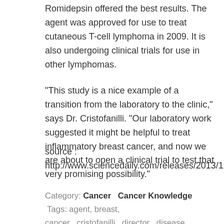Romidepsin offered the best results. The agent was approved for use to treat cutaneous T-cell lymphoma in 2009. It is also undergoing clinical trials for use in other lymphomas.
"This study is a nice example of a transition from the laboratory to the clinic," says Dr. Cristofanilli. "Our laboratory work suggested it might be helpful to treat inflammatory breast cancer, and now we are about to open a clinical trial to test that very promising possibility."
source : http://www.sciencedaily.com/releases/2013/12/131210163533.htm
Category: Cancer  Cancer Knowledge  Tags: agent, breast, cancer, cristofanilli, director, disease, kimmel-cancer,